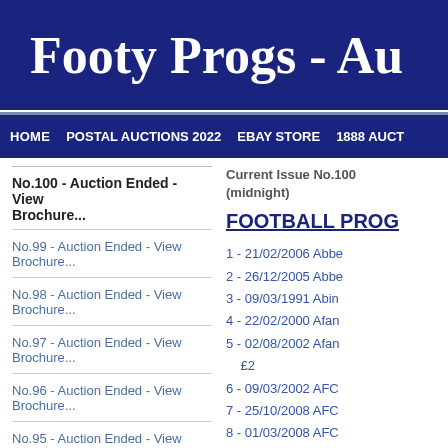Footy Progs - Au
HOME    POSTAL AUCTIONS 2022    EBAY STORE    1888 AUCT
No.100 - Auction Ended - View Brochure...
No.99 - Auction Ended - View Brochure...
No.98 - Auction Ended - View Brochure...
No.97 - Auction Ended - View Brochure...
No.96 - Auction Ended - View Brochure...
No.95 - Auction Ended - View Brochure...
No.94 - Auction Ended - View Brochure...
No.93 - Auction Ended - View Brochure...
Current Issue No.100 (midnight)
FOOTBALL PROG
1 - 21/02/2006 Abbe
2 - 26/12/2005 Abbe
3 - 09/03/1991 Abin
4 - 22/02/2000 Afan
5 - 02/08/2002 Afan £2
6 - 09/03/2002 AFC
7 - 25/10/2008 AFC
8 - 01/03/2008 AFC
9 - 03/01/2005 AFC
10 - 19/02/2005 AF